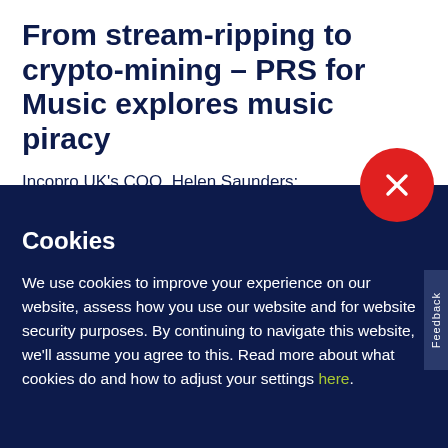From stream-ripping to crypto-mining – PRS for Music explores music piracy
Incopro UK's COO, Helen Saunders: "Cryptocurrency mining is definitely a ne...
Cookies
We use cookies to improve your experience on our website, assess how you use our website and for website security purposes. By continuing to navigate this website, we'll assume you agree to this. Read more about what cookies do and how to adjust your settings here.